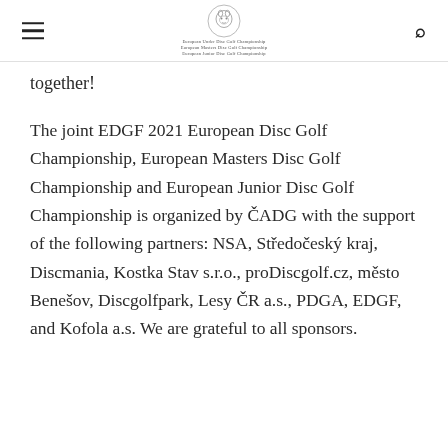[Logo: EDGF European Disc Golf Championship]
together!
The joint EDGF 2021 European Disc Golf Championship, European Masters Disc Golf Championship and European Junior Disc Golf Championship is organized by ČADG with the support of the following partners: NSA, Středočeský kraj, Discmania, Kostka Stav s.r.o., proDiscgolf.cz, město Benešov, Discgolfpark, Lesy ČR a.s., PDGA, EDGF, and Kofola a.s. We are grateful to all sponsors.